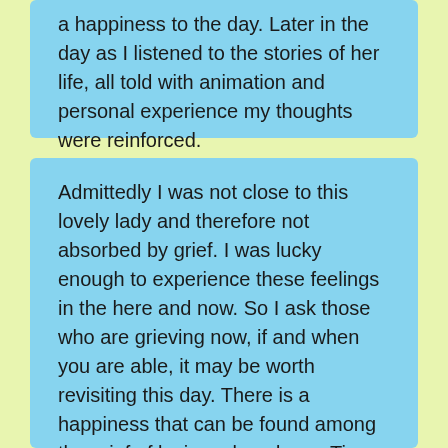a happiness to the day. Later in the day as I listened to the stories of her life, all told with animation and personal experience my thoughts were reinforced.
Admittedly I was not close to this lovely lady and therefore not absorbed by grief. I was lucky enough to experience these feelings in the here and now. So I ask those who are grieving now, if and when you are able, it may be worth revisiting this day. There is a happiness that can be found among the grief of losing a loved one. Time heals the pain and hopefully the good memories become the only memories. Once the grief becomes less